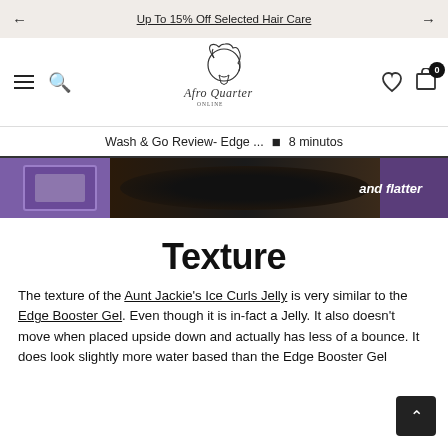Up To 15% Off Selected Hair Care
[Figure (logo): Afro Quarter online store logo — outline illustration of a woman with afro hair, with cursive text 'Afro Quarter Online']
Wash & Go Review- Edge ... • 8 minutos
[Figure (photo): Image strip showing a purple hair product jar on the left, dark curly hair in the middle, and partial text 'and flatter' on the right]
Texture
The texture of the Aunt Jackie's Ice Curls Jelly is very similar to the Edge Booster Gel. Even though it is in-fact a Jelly. It also doesn't move when placed upside down and actually has less of a bounce. It does lo slightly more water based than the Edge Booster Gel